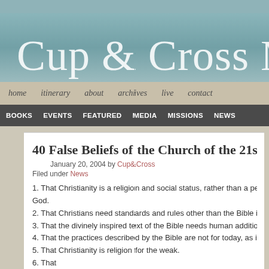Cup & Cross Mi...
home  itinerary  about  archives  live  contact
BOOKS  EVENTS  FEATURED  MEDIA  MISSIONS  NEWS
40 False Beliefs of the Church of the 21st Centu...
January 20, 2004 by Cup&Cross
Filed under News
1. That Christianity is a religion and social status, rather than a personal life of God.
2. That Christians need standards and rules other than the Bible in order to live...
3. That the divinely inspired text of the Bible needs human additions and altera...
4. That the practices described by the Bible are not for today, as if the Bible is v...
5. That Christianity is religion for the weak.
6. That ...